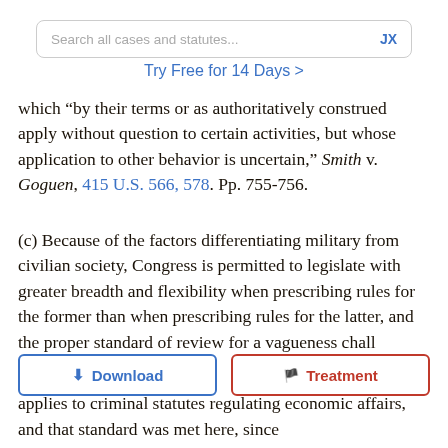[Figure (screenshot): Search bar UI element with placeholder text 'Search all cases and statutes...' and 'JX' label on the right]
Try Free for 14 Days >
which "by their terms or as authoritatively construed apply without question to certain activities, but whose application to other behavior is uncertain," Smith v. Goguen, 415 U.S. 566, 578. Pp. 755-756.
(c) Because of the factors differentiating military from civilian society, Congress is permitted to legislate with greater breadth and flexibility when prescribing rules for the former than when prescribing rules for the latter, and the proper standard of review for a vagueness challenge to les that applies to criminal statutes regulating economic affairs, and that standard was met here, since
[Figure (screenshot): Two UI buttons: 'Download' (blue outline) and 'Treatment' (red outline)]